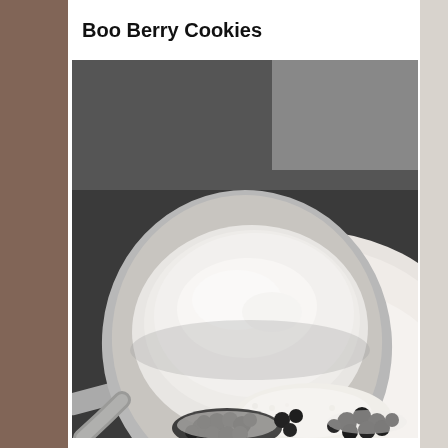Boo Berry Cookies
[Figure (photo): Close-up photo of a metal measuring spoon heaped with white powder (flour or sugar) held over a white bowl containing a mix of white powder and small dark berries (blueberries), with kitchen background.]